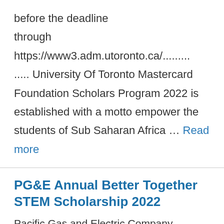before the deadline through https://www3.adm.utoronto.ca/.......... University Of Toronto Mastercard Foundation Scholars Program 2022 is established with a motto empower the students of Sub Saharan Africa … Read more
PG&E Annual Better Together STEM Scholarship 2022
Pacific Gas and Electric Company (PG&E) is pleasing applications from students of California to pursue a degree under the PG&E Annual Better Together STEM Scholarship,